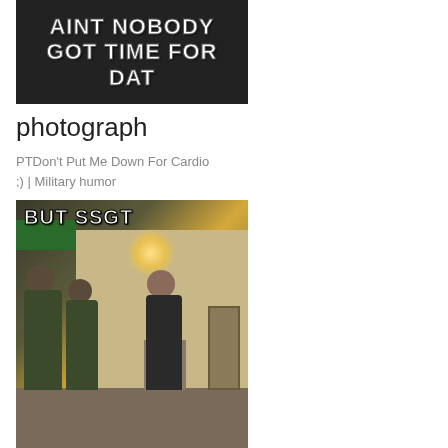[Figure (photo): Meme image with dark background and white bold text reading 'AINT NOBODY GOT TIME FOR DAT']
photograph
PTDon't Put Me Down For Cardio ;) | Military humor
[Figure (photo): Meme image of military soldiers in fatigues standing in a hallway, one wearing a floral skirt, with bold white text reading 'BUT SSGT']